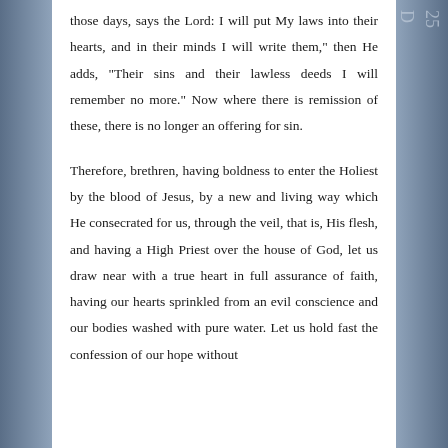those days, says the Lord: I will put My laws into their hearts, and in their minds I will write them," then He adds, "Their sins and their lawless deeds I will remember no more." Now where there is remission of these, there is no longer an offering for sin.
Therefore, brethren, having boldness to enter the Holiest by the blood of Jesus, by a new and living way which He consecrated for us, through the veil, that is, His flesh, and having a High Priest over the house of God, let us draw near with a true heart in full assurance of faith, having our hearts sprinkled from an evil conscience and our bodies washed with pure water. Let us hold fast the confession of our hope without